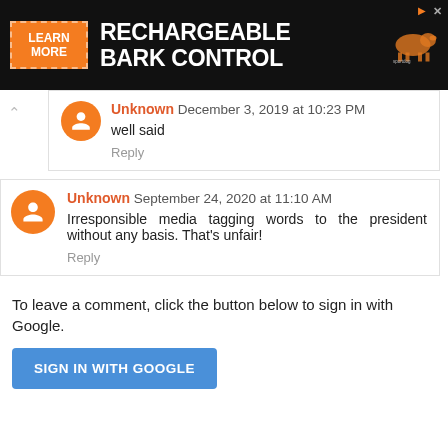[Figure (screenshot): Advertisement banner for SportDOG Rechargeable Bark Control with orange Learn More button on dark background]
Unknown December 3, 2019 at 10:23 PM
well said
Reply
Unknown September 24, 2020 at 11:10 AM
Irresponsible media tagging words to the president without any basis. That's unfair!
Reply
To leave a comment, click the button below to sign in with Google.
SIGN IN WITH GOOGLE